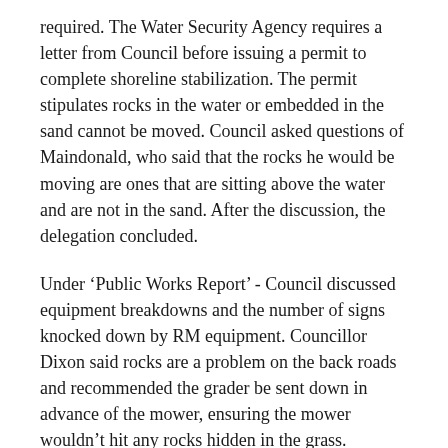required. The Water Security Agency requires a letter from Council before issuing a permit to complete shoreline stabilization. The permit stipulates rocks in the water or embedded in the sand cannot be moved. Council asked questions of Maindonald, who said that the rocks he would be moving are ones that are sitting above the water and are not in the sand. After the discussion, the delegation concluded.
Under ‘Public Works Report’ - Council discussed equipment breakdowns and the number of signs knocked down by RM equipment. Councillor Dixon said rocks are a problem on the back roads and recommended the grader be sent down in advance of the mower, ensuring the mower wouldn’t hit any rocks hidden in the grass.
Under ‘Administrator’s Report’- The gravel tenders were posted on Sasktenders on Oct 7th closing on October 26; The Strategic Plan Request for Proposal (RFP) was posted to Sasktenders on Oct 7th closing on November 12; The 2021 Maintenance List was submitted to SAMA on October 5; The